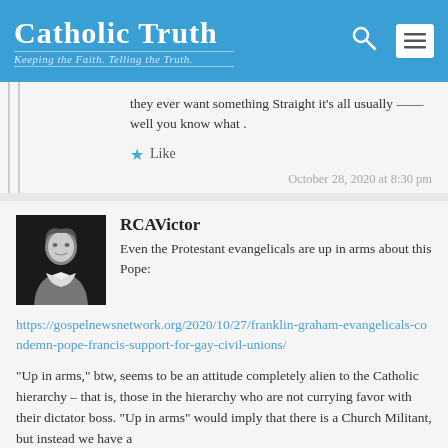Catholic Truth — Keeping the Faith. Telling the Truth.
they ever want something Straight it's all usually ——well you know what .
Like
October 28, 2020 at 8:30 pm
RCAVictor
Even the Protestant evangelicals are up in arms about this Pope:
https://gospelnewsnetwork.org/2020/10/27/franklin-graham-evangelicals-condemn-pope-francis-support-for-gay-civil-unions/
“Up in arms,” btw, seems to be an attitude completely alien to the Catholic hierarchy – that is, those in the hierarchy who are not currying favor with their dictator boss. “Up in arms” would imply that there is a Church Militant, but instead we have a